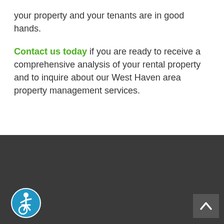your property and your tenants are in good hands.
Contact us today if you are ready to receive a comprehensive analysis of your rental property and to inquire about our West Haven area property management services.
[Figure (illustration): Dark footer section with accessibility icon (blue circle with wheelchair user symbol) in bottom-left and a dark gray back-to-top arrow button in bottom-right.]